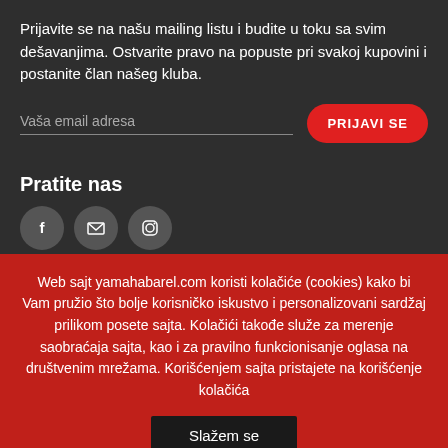Prijavite se na našu mailing listu i budite u toku sa svim dešavanjima. Ostvarite pravo na popuste pri svakoj kupovini i postanite član našeg kluba.
Vaša email adresa
PRIJAVI SE
Pratite nas
[Figure (illustration): Three circular social media icons: Facebook (f), Email (envelope), Instagram (camera/circle)]
Web sajt yamahabarel.com koristi kolačiće (cookies) kako bi Vam pružio što bolje korisničko iskustvo i personalizovani sardžaj prilikom posete sajta. Kolačići takođe služe za merenje saobraćaja sajta, kao i za pravilno funkcionisanje oglasa na društvenim mrežama. Korišćenjem sajta pristajete na korišćenje kolačića
Slažem se